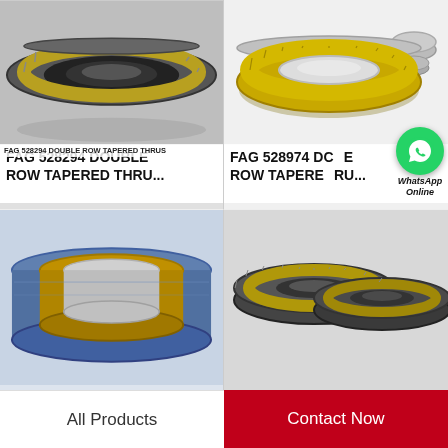[Figure (photo): FAG 528294 double row tapered thrust roller bearing - dark metallic ring with gold/brass colored rollers, top-down angled view on grey background]
FAG 528294 DOUBLE ROW TAPERED THRUS
FAG 528294 DOUBLE ROW TAPERED THRU...
[Figure (photo): FAG 528974 double row tapered thrust roller bearing - gold/brass colored bearing assembly with multiple rings and rollers, exploded view on white background]
FAG 528974 DOUBLE ROW TAPERED THRUS
FAG 528974 DOLE ROW TAPEREDRU...
[Figure (other): WhatsApp Online chat button - green circle with phone icon]
[Figure (photo): Blue and gold cylindrical thrust bearing, side view showing flat disc shape with brass colored roller cage]
[Figure (photo): Two dark metallic tapered roller bearing rings side by side on light background]
All Products
Contact Now